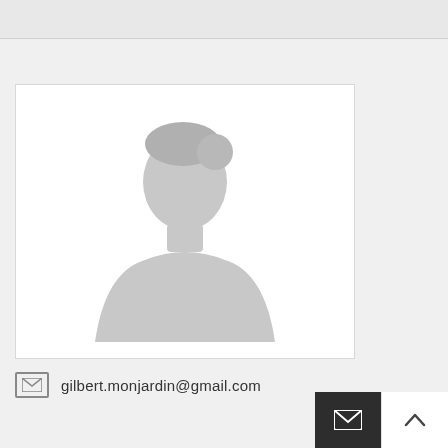[Figure (photo): Generic placeholder silhouette of a person (head and shoulders) on white background]
gilbert.monjardin@gmail.com